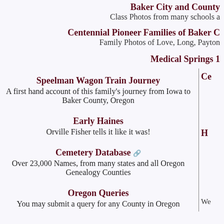Baker City and County
Class Photos from many schools a
Centennial Pioneer Families of Baker C
Family Photos of Love, Long, Payton
Medical Springs 1
Speelman Wagon Train Journey
A first hand account of this family's journey from Iowa to Baker County, Oregon
Ce
Early Haines
Orville Fisher tells it like it was!
H
Cemetery Database
Over 23,000 Names, from many states and all Oregon Genealogy Counties
Oregon Queries
You may submit a query for any County in Oregon
We